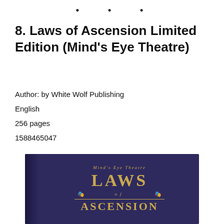• • •
8. Laws of Ascension Limited Edition (Mind's Eye Theatre)
Author: by White Wolf Publishing
English
256 pages
1588465047
[Figure (photo): Photo of the book cover for 'Laws of Ascension Limited Edition' by Mind's Eye Theatre. The cover is dark navy/purple with gold lettering showing 'Mind's Eye Theatre' at the top, 'LAWS of ASCENSION' in large gold decorative lettering, with comedy/tragedy mask icons and decorative borders.]